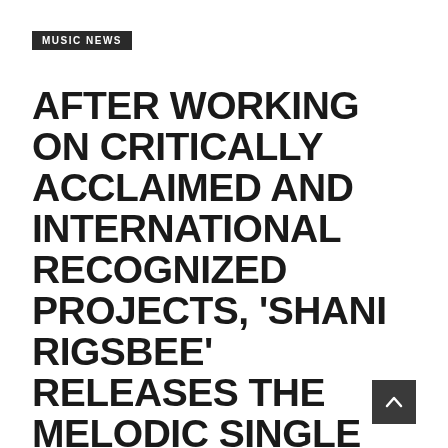MUSIC NEWS
AFTER WORKING ON CRITICALLY ACCLAIMED AND INTERNATIONAL RECOGNIZED PROJECTS, 'SHANI RIGSBEE' RELEASES THE MELODIC SINGLE 'SEND'
By groovemagazine / October 25, 2019